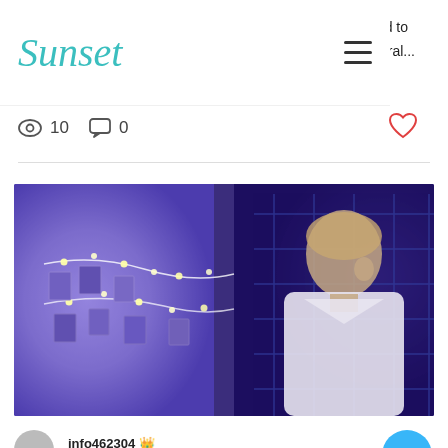Sunset (logo) — navigation header with hamburger menu
rd to eral...
10 views  0 comments
[Figure (photo): A man in a white shirt looking at a wall decorated with photos hung by fairy lights, bathed in purple/blue light]
info462304 👑
Jul 6, 2020 · 1 min
Our opening - an incredible day!